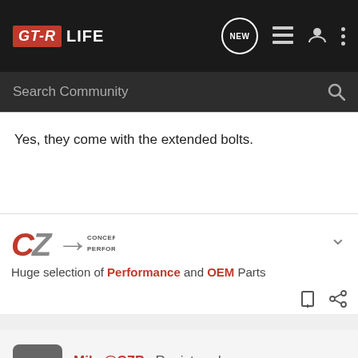[Figure (logo): GT-R LIFE forum logo with navigation icons on dark background]
[Figure (screenshot): Search Community search bar on dark background]
Yes, they come with the extended bolts.
[Figure (logo): Concept Z Performance (CZP) sponsor logo with tagline: Huge selection of Performance and OEM Parts]
Mike@CZP · Registered
Joined Jan 29, 2010 · 9,615 Posts